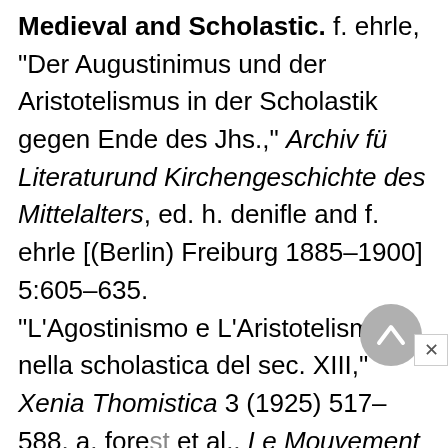Medieval and Scholastic. f. ehrle, "Der Augustinimus und der Aristotelismus in der Scholastik gegen Ende des Jhs.," Archiv fü Literaturund Kirchengeschichte des Mittelalters, ed. h. denifle and f. ehrle [(Berlin) Freiburg 1885–1900] 5:605–635. "L'Agostinismo e L'Aristotelismo nella scholastica del sec. XIII," Xenia Thomistica 3 (1925) 517–588. a. forest et al., Le Mouvement doctrinal du XIeau XIVe siècle [Histoire de l'église depuis les origines jusqu'à nos jours